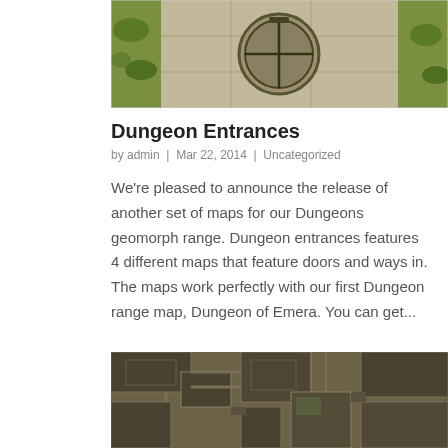[Figure (illustration): Top-down dungeon map tile showing a circular doorway/hatch in a stone courtyard with grass edges]
Dungeon Entrances
by admin | Mar 22, 2014 | Uncategorized
We're pleased to announce the release of another set of maps for our Dungeons geomorph range. Dungeon entrances features 4 different maps that feature doors and ways in. The maps work perfectly with our first Dungeon range map, Dungeon of Emera. You can get...
[Figure (illustration): Top-down dungeon map tile showing a maze-like dungeon interior with corridors and rooms]